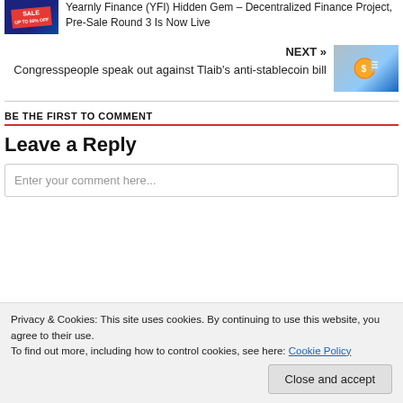Yearnly Finance (YFI) Hidden Gem – Decentralized Finance Project, Pre-Sale Round 3 Is Now Live
NEXT »
Congresspeople speak out against Tlaib's anti-stablecoin bill
BE THE FIRST TO COMMENT
Leave a Reply
Enter your comment here...
Privacy & Cookies: This site uses cookies. By continuing to use this website, you agree to their use.
To find out more, including how to control cookies, see here: Cookie Policy